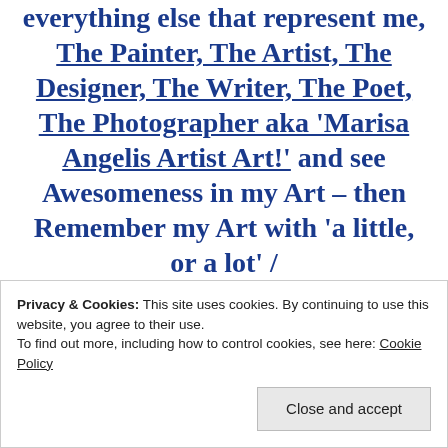Luxury Paintings, more and everything else that represent me, The Painter, The Artist, The Designer, The Writer, The Poet, The Photographer aka 'Marisa Angelis Artist Art!' and see Awesomeness in my Art – then Remember my Art with 'a little, or a lot' /
Privacy & Cookies: This site uses cookies. By continuing to use this website, you agree to their use. To find out more, including how to control cookies, see here: Cookie Policy